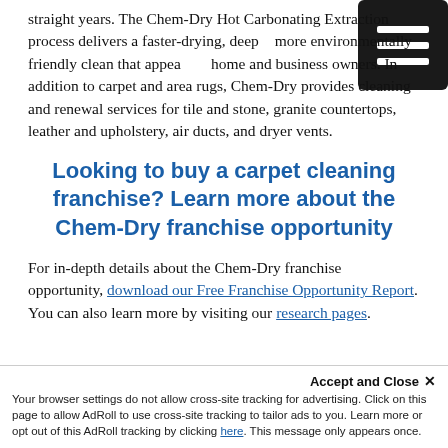straight years. The Chem-Dry Hot Carbonating Extraction process delivers a faster-drying, deeper, more environmentally friendly clean that appeals to home and business owners. In addition to carpet and area rugs, Chem-Dry provides cleaning and renewal services for tile and stone, granite countertops, leather and upholstery, air ducts, and dryer vents.
Looking to buy a carpet cleaning franchise? Learn more about the Chem-Dry franchise opportunity
For in-depth details about the Chem-Dry franchise opportunity, download our Free Franchise Opportunity Report. You can also learn more by visiting our research pages.
Accept and Close ✕ Your browser settings do not allow cross-site tracking for advertising. Click on this page to allow AdRoll to use cross-site tracking to tailor ads to you. Learn more or opt out of this AdRoll tracking by clicking here. This message only appears once.